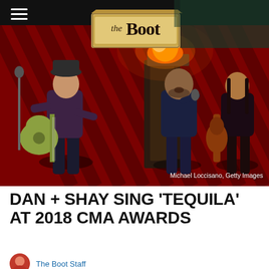[Figure (photo): Dan + Shay performing on stage at the 2018 CMA Awards. A guitarist on the left holds a yellow-green acoustic guitar, a singer in the center sings into a microphone, and a guitarist on the right plays electric guitar. Flames shoot from a prop structure in the background. The Boot logo appears in the top center of the image. A red diagonal-striped backdrop is visible.]
Michael Loccisano, Getty Images
DAN + SHAY SING ‘TEQUILA’ AT 2018 CMA AWARDS
The Boot Staff